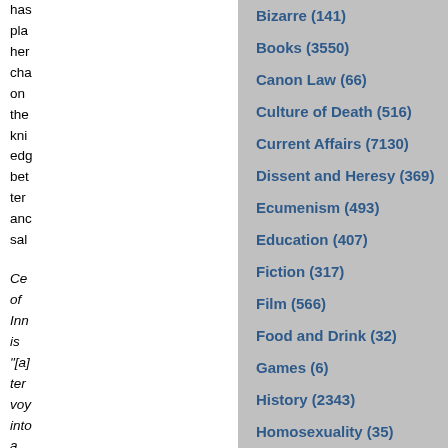has pla her cha on the kni edg bet ter anc sal
Ce of Inn is "[a] ter vo into a sin
Bizarre (141)
Books (3550)
Canon Law (66)
Culture of Death (516)
Current Affairs (7130)
Dissent and Heresy (369)
Ecumenism (493)
Education (407)
Fiction (317)
Film (566)
Food and Drink (32)
Games (6)
History (2343)
Homosexuality (35)
Humor (307)